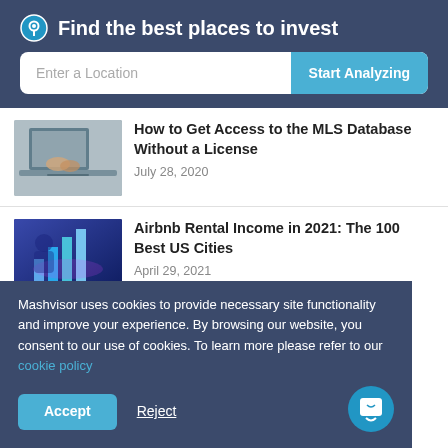Find the best places to invest
[Figure (screenshot): Search bar with 'Enter a Location' input field and 'Start Analyzing' button]
[Figure (photo): Person using laptop, MLS Database article thumbnail]
How to Get Access to the MLS Database Without a License
July 28, 2020
[Figure (photo): Person holding digital chart visualization, Airbnb article thumbnail]
Airbnb Rental Income in 2021: The 100 Best US Cities
April 29, 2021
Mashvisor uses cookies to provide necessary site functionality and improve your experience. By browsing our website, you consent to our use of cookies. To learn more please refer to our cookie policy
Accept
Reject